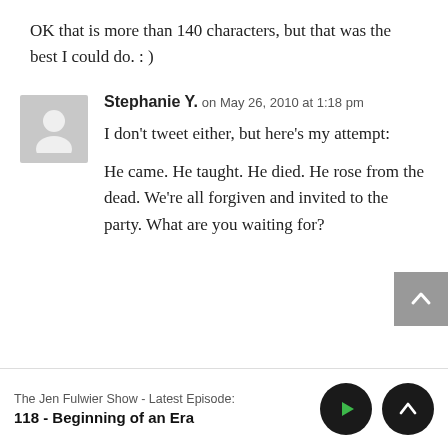OK that is more than 140 characters, but that was the best I could do. : )
Stephanie Y. on May 26, 2010 at 1:18 pm
I don't tweet either, but here's my attempt:
He came. He taught. He died. He rose from the dead. We're all forgiven and invited to the party. What are you waiting for?
The Jen Fulwier Show - Latest Episode: 118 - Beginning of an Era